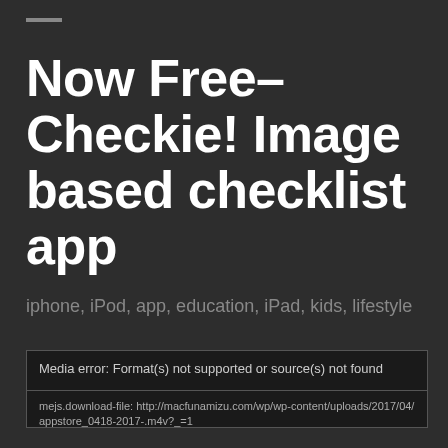Now Free– Checkie! Image based checklist app
iphone, iPod, app, education, iPad, kids, lifestyle
Media error: Format(s) not supported or source(s) not found
mejs.download-file: http://macfunamizu.com/wp/wp-content/uploads/2017/04/appstore_0418-2017-.m4v?_=1